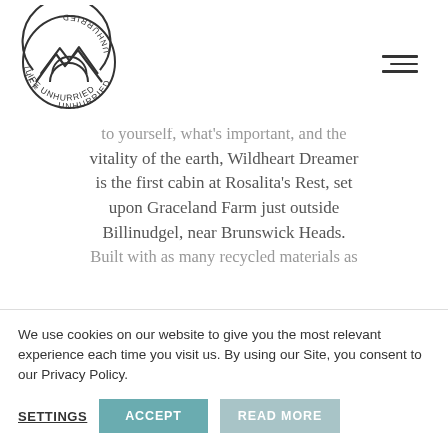Life Unhurried logo and navigation menu
to yourself, what's important, and the vitality of the earth, Wildheart Dreamer is the first cabin at Rosalita's Rest, set upon Graceland Farm just outside Billinudgel, near Brunswick Heads. Built with as many recycled materials as
We use cookies on our website to give you the most relevant experience each time you visit us. By using our Site, you consent to our Privacy Policy.
SETTINGS    ACCEPT    READ MORE